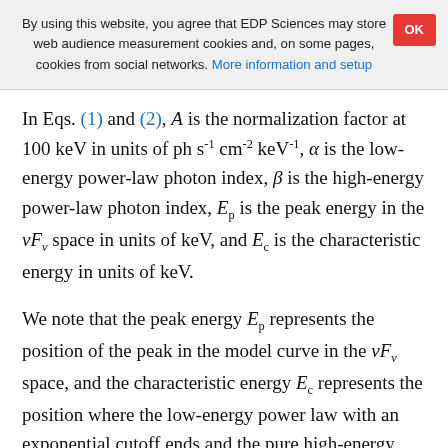By using this website, you agree that EDP Sciences may store web audience measurement cookies and, on some pages, cookies from social networks. More information and setup
In Eqs. (1) and (2), A is the normalization factor at 100 keV in units of ph s⁻¹ cm⁻² keV⁻¹, α is the low-energy power-law photon index, β is the high-energy power-law photon index, E_p is the peak energy in the νF_ν space in units of keV, and E_c is the characteristic energy in units of keV.
We note that the peak energy E_p represents the position of the peak in the model curve in the νF_ν space, and the characteristic energy E_c represents the position where the low-energy power law with an exponential cutoff ends and the pure high-energy power law starts. These